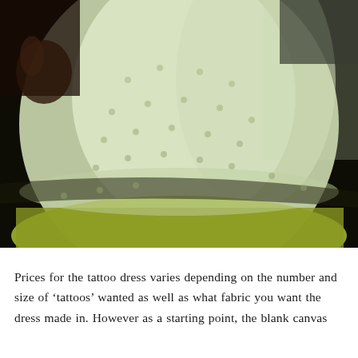[Figure (photo): Close-up photograph of an elaborate ball gown dress with a pale green/ivory sheer fabric overlay embellished with small circular embroidered or beaded dots (tattoos). An underskirt of yellow-green/chartreuse satin is visible at the hem. The background is very dark/black. A person's hand holding a dark bouquet is partially visible at the top left.]
Prices for the tattoo dress varies depending on the number and size of 'tattoos' wanted as well as what fabric you want the dress made in. However as a starting point, the blank canvas